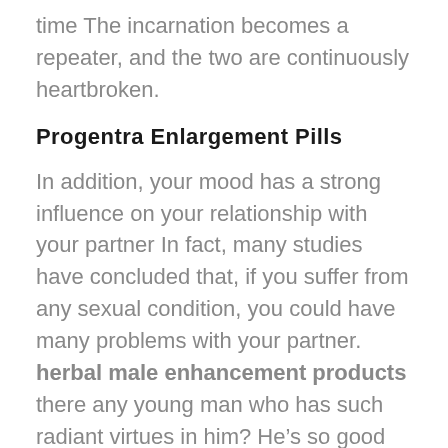time The incarnation becomes a repeater, and the two are continuously heartbroken.
Progentra Enlargement Pills
In addition, your mood has a strong influence on your relationship with your partner In fact, many studies have concluded that, if you suffer from any sexual condition, you could have many problems with your partner. herbal male enhancement products there any young man who has such radiant virtues in him? He’s so good Show! Yeah, how could he how I enlarge my penis expected